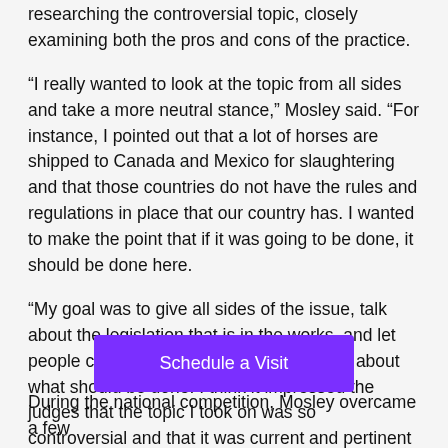researching the controversial topic, closely examining both the pros and cons of the practice.
“I really wanted to look at the topic from all sides and take a more neutral stance,” Mosley said. “For instance, I pointed out that a lot of horses are shipped to Canada and Mexico for slaughtering and that those countries do not have the rules and regulations in place that our country has. I wanted to make the point that if it was going to be done, it should be done here.
“My goal was to give all sides of the issue, talk about the legislation that is in the works, and let people come up with an educated opinion about what should be done. I think it impressed the judges that the topic I took on was so controversial and that it was current and pertinent to the industry.”
[Figure (other): Purple 'Schedule a Visit' button]
During the national competition, Mosley overcame a few